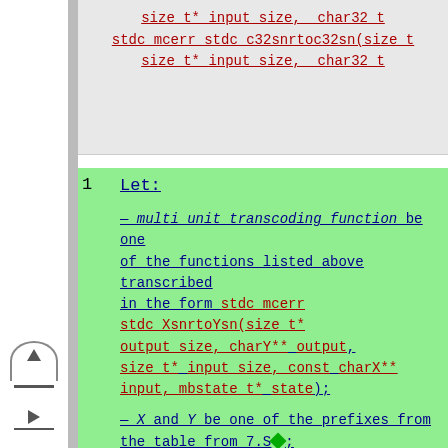size_t* input_size, char32_t stdc_mcerr stdc_c32snrtoc32sn(size_t size_t* input_size, char32_t
1  Let: — multi unit transcoding function be one of the functions listed above transcribed in the form stdc_mcerr stdc_XsnrtoYsn(size_t* output_size, charY** output, size_t* input_size, const charX** input, mbstate_t* state); — X and Y be one of the prefixes from the table from 7.S◆; — charX and charY be the associated code unit types for X and Y from the table from 7.S◆; and